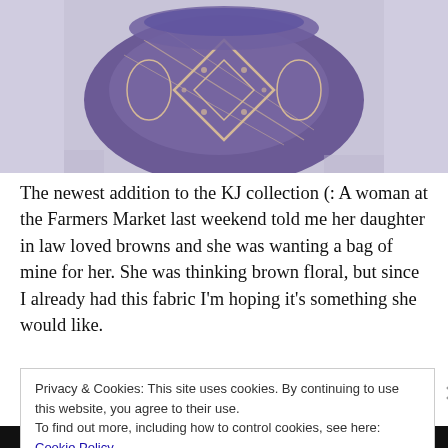[Figure (photo): A purple/violet fabric item with gold/cream geometric and paisley pattern, laid on a wooden surface. Part of a handbag or scarf from the KJ collection.]
The newest addition to the KJ collection (: A woman at the Farmers Market last weekend told me her daughter in law loved browns and she was wanting a bag of mine for her. She was thinking brown floral, but since I already had this fabric I'm hoping it's something she would like.
Privacy & Cookies: This site uses cookies. By continuing to use this website, you agree to their use.
To find out more, including how to control cookies, see here: Cookie Policy